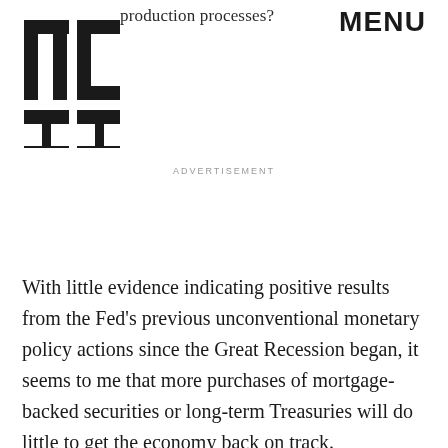production processes?
MENU
[Figure (logo): MIC logo — large bold block letters M I C stacked in a bold sans-serif style]
ADVERTISEMENT
With little evidence indicating positive results from the Fed's previous unconventional monetary policy actions since the Great Recession began, it seems to me that more purchases of mortgage-backed securities or long-term Treasuries will do little to get the economy back on track. Purchasing more mortgage-backed securities would be the worst